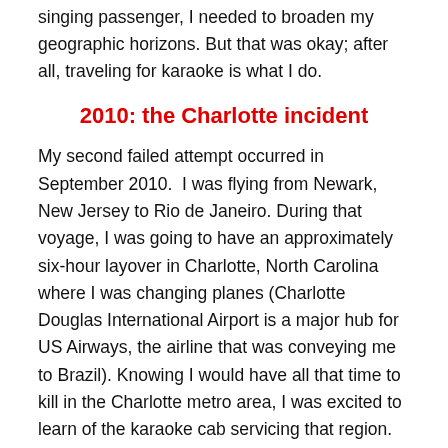singing passenger, I needed to broaden my geographic horizons. But that was okay; after all, traveling for karaoke is what I do.
2010: the Charlotte incident
My second failed attempt occurred in September 2010.  I was flying from Newark, New Jersey to Rio de Janeiro. During that voyage, I was going to have an approximately six-hour layover in Charlotte, North Carolina where I was changing planes (Charlotte Douglas International Airport is a major hub for US Airways, the airline that was conveying me to Brazil). Knowing I would have all that time to kill in the Charlotte metro area, I was excited to learn of the karaoke cab servicing that region.  A jaunt in it would be a memorable way to start my vacation.  So I contacted the driver. We exchanged voice mail messages. The message